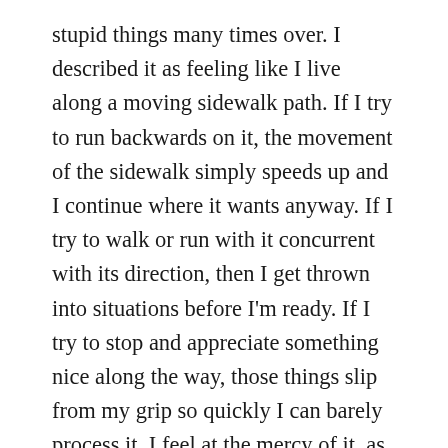stupid things many times over. I described it as feeling like I live along a moving sidewalk path. If I try to run backwards on it, the movement of the sidewalk simply speeds up and I continue where it wants anyway. If I try to walk or run with it concurrent with its direction, then I get thrown into situations before I'm ready. If I try to stop and appreciate something nice along the way, those things slip from my grip so quickly I can barely process it. I feel at the mercy of it, as if I can only let fate drag me on its moving sidewalk like a dog on a chain. It's infuriating. Just as I was ranting about that fury, my friend gave a text shrug and told me I just needed an attitude adjustment. I wound up crying for nearly an hour because I couldn't quite wrap my head